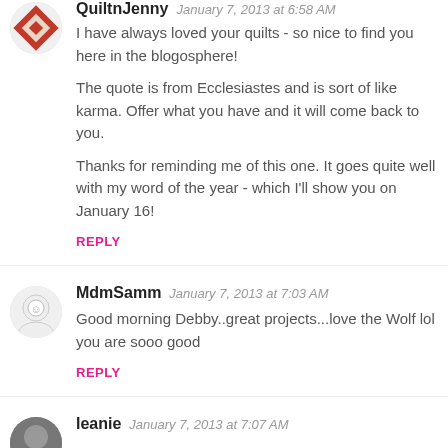QuiltnJenny January 7, 2013 at 6:58 AM
I have always loved your quilts - so nice to find you here in the blogosphere!

The quote is from Ecclesiastes and is sort of like karma. Offer what you have and it will come back to you.

Thanks for reminding me of this one. It goes quite well with my word of the year - which I'll show you on January 16!
REPLY
MdmSamm January 7, 2013 at 7:03 AM
Good morning Debby..great projects...love the Wolf lol you are sooo good
REPLY
leanie January 7, 2013 at 7:07 AM